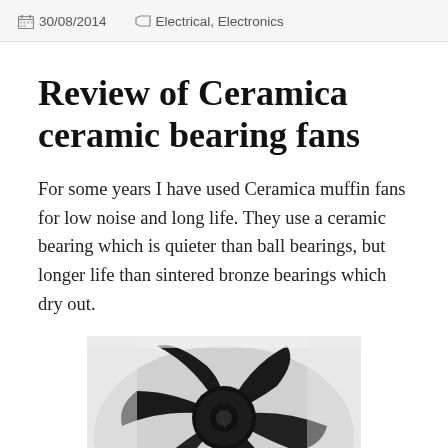30/08/2014   Electrical, Electronics
Review of Ceramica ceramic bearing fans
For some years I have used Ceramica muffin fans for low noise and long life. They use a ceramic bearing which is quieter than ball bearings, but longer life than sintered bronze bearings which dry out.
[Figure (photo): Close-up photograph of a black multi-blade ceramic bearing fan, showing the fan blades and central hub from a top-down perspective against a light background.]